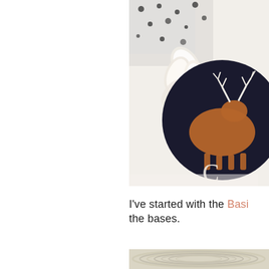[Figure (photo): Close-up photo of a craft ornament — a dark navy/black circular felt base with an orange/brown reindeer silhouette, white ruffled ribbon flowers, and decorative black-and-white polka dot patterned paper in the background, on a white surface.]
I've started with the Basi the bases.
[Figure (photo): Close-up photo of cream/ivory woven ribbon or trim coiled in a circle, viewed from above, on a light wooden or cream surface.]